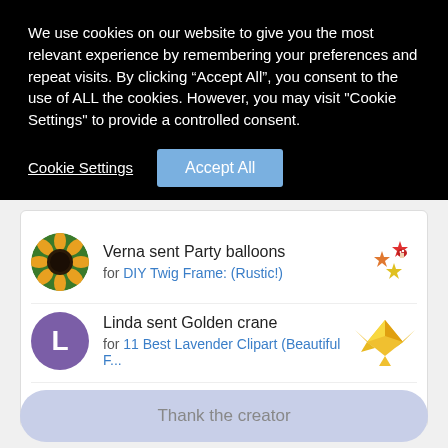We use cookies on our website to give you the most relevant experience by remembering your preferences and repeat visits. By clicking “Accept All”, you consent to the use of ALL the cookies. However, you may visit "Cookie Settings" to provide a controlled consent.
Cookie Settings
Accept All
Verna sent Party balloons for DIY Twig Frame: (Rustic!)
Linda sent Golden crane for 11 Best Lavender Clipart (Beautiful F...
View all thanks
Thank the creator